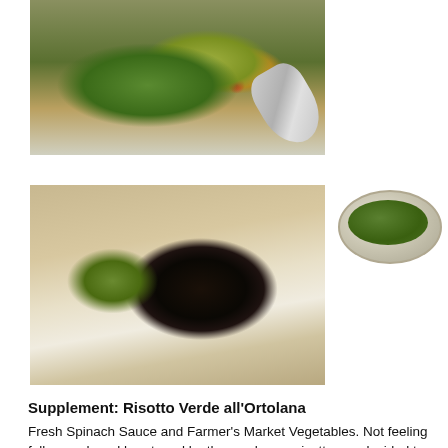[Figure (photo): Top-down view of a white plate with green risotto (spinach sauce) topped with colorful farmer's market vegetables including red cherry tomatoes, yellow vegetables, and a silver spoon on the side.]
[Figure (photo): A white rectangular plate with green risotto on the left side and a dark black/squid ink rice or pasta dish on the right side, garnished with a red cherry tomato. A partial bowl of green risotto is visible in the top right corner.]
Supplement: Risotto Verde all'Ortolana
Fresh Spinach Sauce and Farmer's Market Vegetables. Not feeling full enough and heartened by the mushroom risotto, we decided to order the two risottos on the regular menu. The spinach added a great twang to the rice, and the veggies were simply a joy to eat. It was nice to be able to